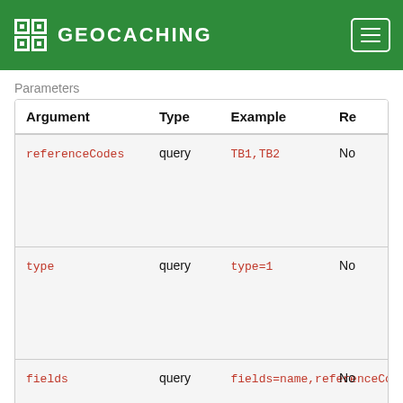GEOCACHING
Parameters
| Argument | Type | Example | Re |
| --- | --- | --- | --- |
| referenceCodes | query | TB1,TB2 | No |
| type | query | type=1 | No |
| fields | query | fields=name,referenceCode | No |